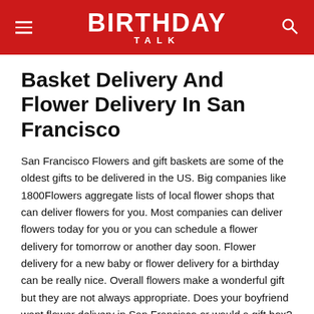BIRTHDAY TALK
Basket Delivery And Flower Delivery In San Francisco
San Francisco Flowers and gift baskets are some of the oldest gifts to be delivered in the US. Big companies like 1800Flowers aggregate lists of local flower shops that can deliver flowers for you. Most companies can deliver flowers today for you or you can schedule a flower delivery for tomorrow or another day soon. Flower delivery for a new baby or flower delivery for a birthday can be really nice. Overall flowers make a wonderful gift but they are not always appropriate. Does your boyfriend want flower delivery in San Francisco or would a gift box? What about your 2-year-old niece? Flowers also can send the wrong message to your recipient in professional settings. When flower delivery is not the move weve got you covered with loads of other great gift ideas from companies